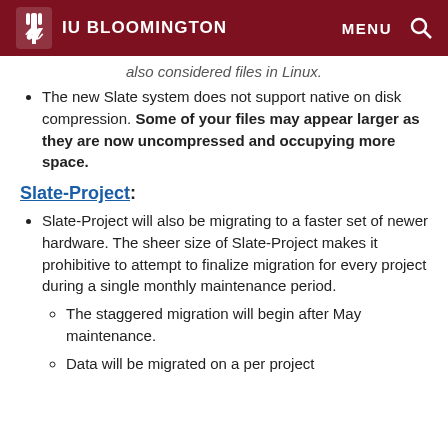IU BLOOMINGTON  MENU 🔍
also considered files in Linux.
The new Slate system does not support native on disk compression. Some of your files may appear larger as they are now uncompressed and occupying more space.
Slate-Project:
Slate-Project will also be migrating to a faster set of newer hardware. The sheer size of Slate-Project makes it prohibitive to attempt to finalize migration for every project during a single monthly maintenance period.
The staggered migration will begin after May maintenance.
Data will be migrated on a per project